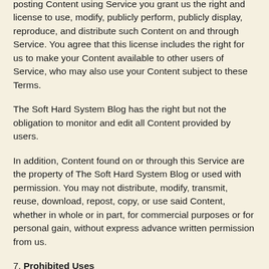posting Content using Service you grant us the right and license to use, modify, publicly perform, publicly display, reproduce, and distribute such Content on and through Service. You agree that this license includes the right for us to make your Content available to other users of Service, who may also use your Content subject to these Terms.
The Soft Hard System Blog has the right but not the obligation to monitor and edit all Content provided by users.
In addition, Content found on or through this Service are the property of The Soft Hard System Blog or used with permission. You may not distribute, modify, transmit, reuse, download, repost, copy, or use said Content, whether in whole or in part, for commercial purposes or for personal gain, without express advance written permission from us.
7. Prohibited Uses
You may use Service only for lawful purposes and in